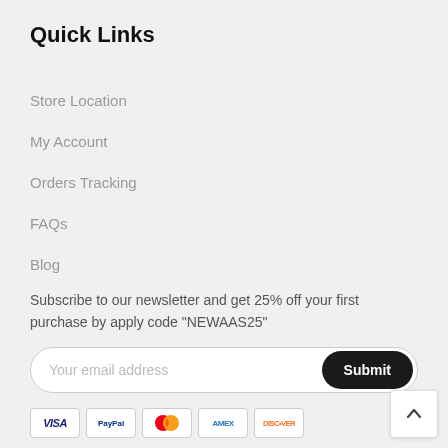Quick Links
Store Location
My Account
Orders Tracking
FAQs
Blog
Subscribe to our newsletter and get 25% off your first purchase by apply code "NEWAAS25"
Your email address
Submit
[Figure (other): Payment method icons: VISA, PayPal, Mastercard, AMEX, Discover]
[Figure (other): Back to top button with upward chevron arrow]